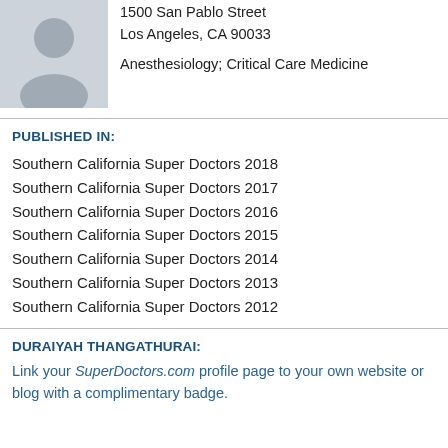[Figure (photo): Placeholder silhouette photo of a doctor]
1500 San Pablo Street
Los Angeles, CA 90033

Anesthesiology; Critical Care Medicine
PUBLISHED IN:
Southern California Super Doctors 2018
Southern California Super Doctors 2017
Southern California Super Doctors 2016
Southern California Super Doctors 2015
Southern California Super Doctors 2014
Southern California Super Doctors 2013
Southern California Super Doctors 2012
DURAIYAH THANGATHURAI:
Link your SuperDoctors.com profile page to your own website or blog with a complimentary badge.